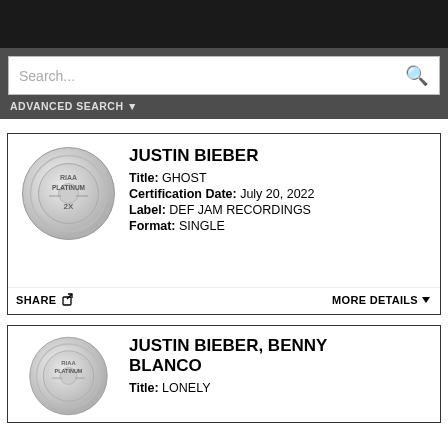[Figure (screenshot): Black top navigation bar]
[Figure (screenshot): Dark gray search bar area with search input field and magnifying glass icon, plus ADVANCED SEARCH dropdown label]
ADVANCED SEARCH ▼
[Figure (logo): RIAA PLATINUM 2X circular badge/medallion]
JUSTIN BIEBER
Title: GHOST
Certification Date: July 20, 2022
Label: DEF JAM RECORDINGS
Format: SINGLE
SHARE  MORE DETAILS ▼
[Figure (logo): RIAA PLATINUM circular badge/medallion (partial)]
JUSTIN BIEBER, BENNY BLANCO
Title: LONELY